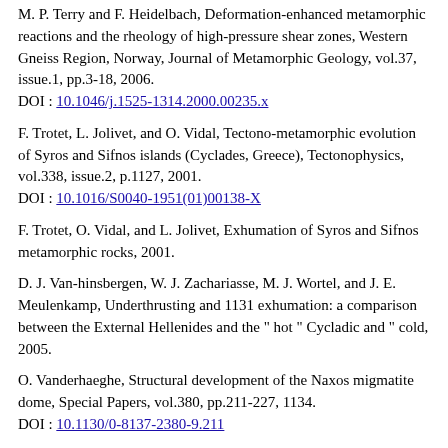M. P. Terry and F. Heidelbach, Deformation-enhanced metamorphic reactions and the rheology of high-pressure shear zones, Western Gneiss Region, Norway, Journal of Metamorphic Geology, vol.37, issue.1, pp.3-18, 2006.
DOI : 10.1046/j.1525-1314.2000.00235.x
F. Trotet, L. Jolivet, and O. Vidal, Tectono-metamorphic evolution of Syros and Sifnos islands (Cyclades, Greece), Tectonophysics, vol.338, issue.2, p.1127, 2001.
DOI : 10.1016/S0040-1951(01)00138-X
F. Trotet, O. Vidal, and L. Jolivet, Exhumation of Syros and Sifnos metamorphic rocks, 2001.
D. J. Van-hinsbergen, W. J. Zachariasse, M. J. Wortel, and J. E. Meulenkamp, Underthrusting and 1131 exhumation: a comparison between the External Hellenides and the " hot " Cycladic and " cold, 2005.
O. Vanderhaeghe, Structural development of the Naxos migmatite dome, Special Papers, vol.380, pp.211-227, 1134.
DOI : 10.1130/0-8137-2380-9.211
A. Vitale-brovarone, C. Groppo, G. Hetenyi, R. Compagnoni, and J. Malavieille, Coexistence of lawsonite-bearing eclogite and blueschist: phase equilibria modelling of Alpine Corsica